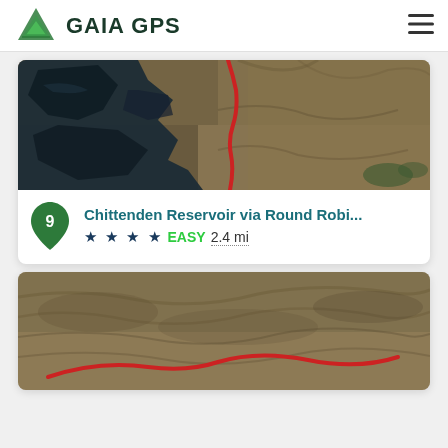GAIA GPS
[Figure (map): Satellite aerial map showing Chittenden Reservoir area with a red trail route overlaid, surrounded by dark water body on left and terrain on right]
9  Chittenden Reservoir via Round Robi...
★ ★ ★ ★ EASY 2.4 mi
[Figure (map): Satellite aerial map showing another trail route with a red path overlaid on terrain, partial view cut off at bottom]